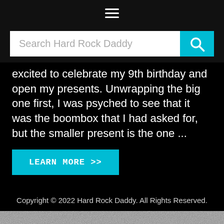☰
[Figure (screenshot): Search bar with placeholder text 'Search Hard Rock Daddy' and a cyan search button with magnifying glass icon]
excited to celebrate my 9th birthday and open my presents. Unwrapping the big one first, I was psyched to see that it was the boombox that I had asked for, but the smaller present is the one ...
LEARN MORE >>
Copyright © 2022 Hard Rock Daddy. All Rights Reserved.